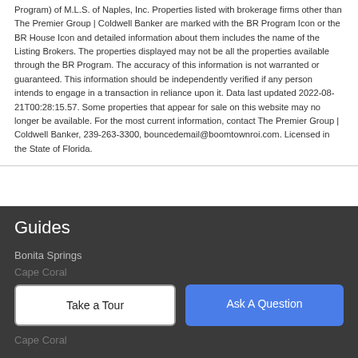Program) of M.L.S. of Naples, Inc. Properties listed with brokerage firms other than The Premier Group | Coldwell Banker are marked with the BR Program Icon or the BR House Icon and detailed information about them includes the name of the Listing Brokers. The properties displayed may not be all the properties available through the BR Program. The accuracy of this information is not warranted or guaranteed. This information should be independently verified if any person intends to engage in a transaction in reliance upon it. Data last updated 2022-08-21T00:28:15.57. Some properties that appear for sale on this website may no longer be available. For the most current information, contact The Premier Group | Coldwell Banker, 239-263-3300, bouncedemail@boomtownroi.com. Licensed in the State of Florida.
Guides
Bonita Springs